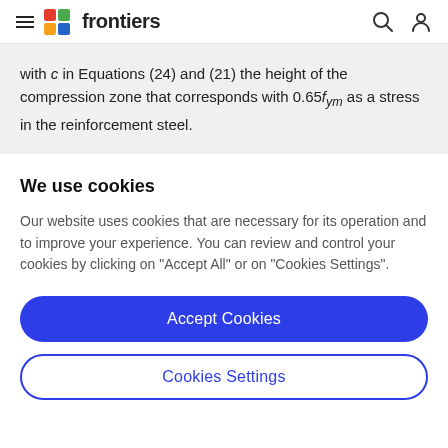frontiers
with c in Equations (24) and (21) the height of the compression zone that corresponds with 0.65f_ym as a stress in the reinforcement steel.
We use cookies
Our website uses cookies that are necessary for its operation and to improve your experience. You can review and control your cookies by clicking on "Accept All" or on "Cookies Settings".
Accept Cookies
Cookies Settings